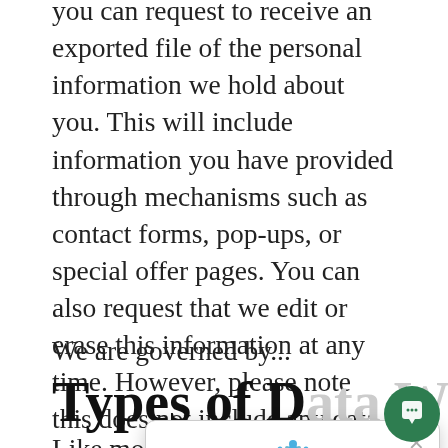you can request to receive an exported file of the personal information we hold about you. This will include information you have provided through mechanisms such as contact forms, pop-ups, or special offer pages. You can also request that we edit or erase this information at any time. However, please note this does not include any data we are obliged to keep for administrative, legal, or security purposes.
We are governed by...
Types of Data We Collect
Like most website operators, we collect identified information that web browsers a...
[Figure (screenshot): Chat popup from WellSpring Home Health with logo, close button, and message: Hello! Thank you for visiting WellSpring Home Health. How can we help you?]